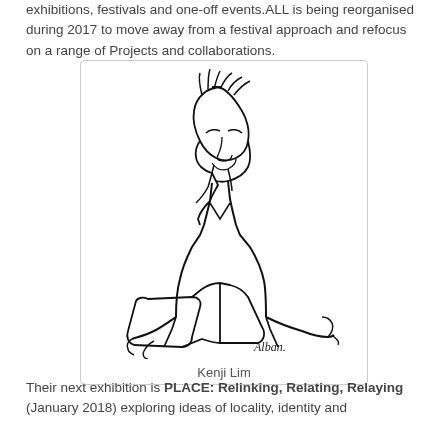exhibitions, festivals and one-off events.ALL is being reorganised during 2017 to move away from a festival approach and refocus on a range of Projects and collaborations.
[Figure (illustration): Line drawing illustration of a person (Kenji Lim) reading a document, signed 'Alban' in the lower right corner.]
Kenji Lim
Their next exhibition is PLACE: Relinking, Relating, Relaying (January 2018) exploring ideas of locality, identity and